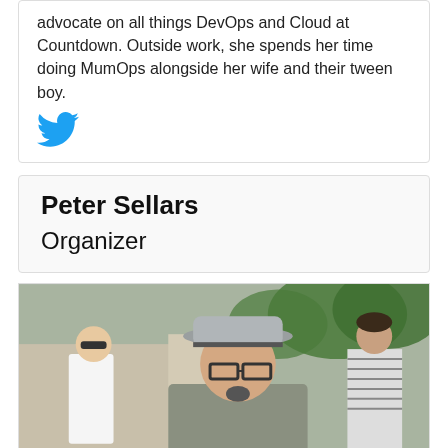advocate on all things DevOps and Cloud at Countdown. Outside work, she spends her time doing MumOps alongside her wife and their tween boy.
[Figure (logo): Twitter bird icon in teal/blue color]
Peter Sellars
Organizer
[Figure (photo): Outdoor photo of a middle-aged man wearing a grey fedora hat and glasses, with a goatee beard, wearing a grey t-shirt. Background shows trees, a person in white shirt and another in striped clothing.]